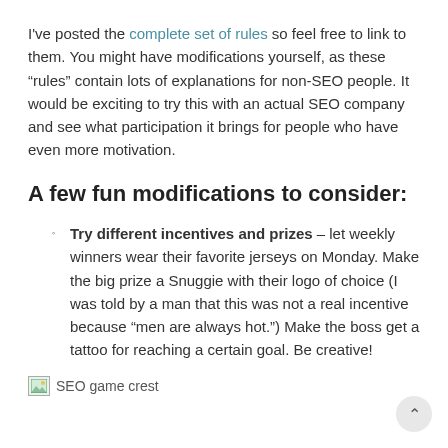I've posted the complete set of rules so feel free to link to them. You might have modifications yourself, as these “rules” contain lots of explanations for non-SEO people. It would be exciting to try this with an actual SEO company and see what participation it brings for people who have even more motivation.
A few fun modifications to consider:
Try different incentives and prizes – let weekly winners wear their favorite jerseys on Monday. Make the big prize a Snuggie with their logo of choice (I was told by a man that this was not a real incentive because “men are always hot.”) Make the boss get a tattoo for reaching a certain goal. Be creative!
[Figure (illustration): Broken image placeholder with alt text 'SEO game crest']